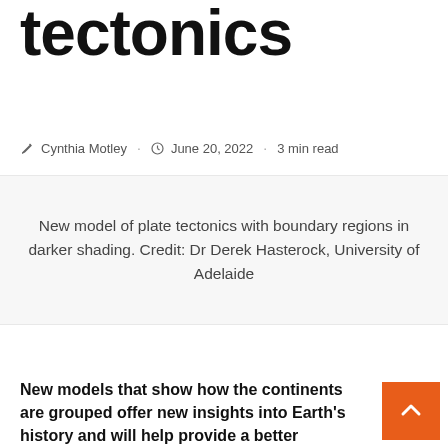tectonics
✎ Cynthia Motley · 🕐 June 20, 2022 · 3 min read
New model of plate tectonics with boundary regions in darker shading. Credit: Dr Derek Hasterock, University of Adelaide
New models that show how the continents are grouped offer new insights into Earth's history and will help provide a better understanding of natural